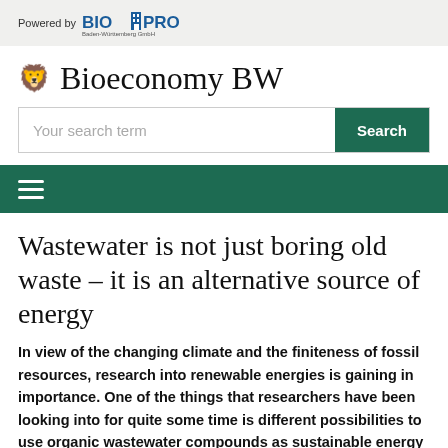Powered by BIOPRO Baden-Württemberg GmbH
Bioeconomy BW
Your search term
≡ (navigation menu)
Wastewater is not just boring old waste – it is an alternative source of energy
In view of the changing climate and the finiteness of fossil resources, research into renewable energies is gaining in importance. One of the things that researchers have been looking into for quite some time is different possibilities to use organic wastewater compounds as sustainable energy